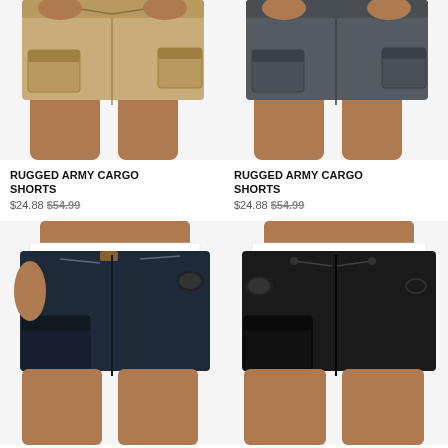[Figure (photo): Man wearing tan/khaki rugged army cargo shorts, upper torso cut off, showing shorts from waist to below knee.]
[Figure (photo): Man wearing dark grey rugged army cargo shorts, upper torso cut off, showing shorts from waist to below knee.]
RUGGED ARMY CARGO SHORTS $24.88 $54.99
RUGGED ARMY CARGO SHORTS $24.88 $54.99
[Figure (photo): Man wearing navy blue rugged army cargo shorts with white waistband, tattoos visible on arm, wearing a watch.]
[Figure (photo): Man wearing black rugged army cargo shorts with white waistband, tattoos visible on arm, wearing a watch and bracelet.]